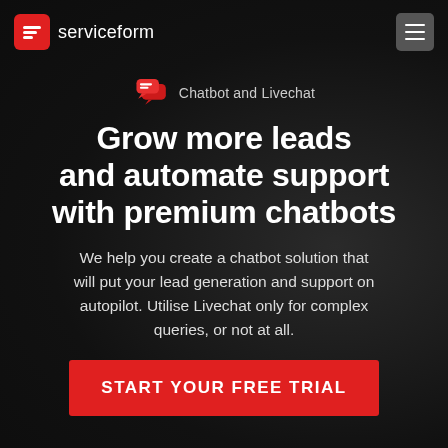serviceform
[Figure (logo): Serviceform logo with red square icon containing stylized 'S' and 'serviceform' text in white]
Chatbot and Livechat
Grow more leads and automate support with premium chatbots
We help you create a chatbot solution that will put your lead generation and support on autopilot. Utilise Livechat only for complex queries, or not at all.
START YOUR FREE TRIAL